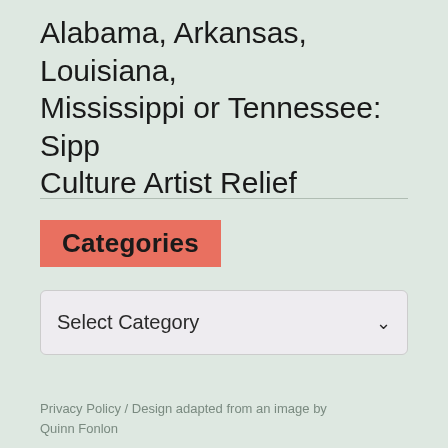Alabama, Arkansas, Louisiana, Mississippi or Tennessee: Sipp Culture Artist Relief
Categories
[Figure (screenshot): A dropdown selector widget with label 'Select Category' and a chevron arrow, styled with a light purple-grey background and rounded border.]
Privacy Policy / Design adapted from an image by Quinn Fonlon